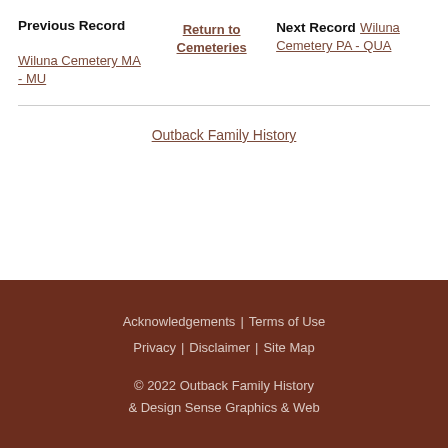Previous Record Wiluna Cemetery MA - MU | Return to Cemeteries | Next Record Wiluna Cemetery PA - QUA
Outback Family History
Acknowledgements | Terms of Use | Privacy | Disclaimer | Site Map | © 2022 Outback Family History & Design Sense Graphics & Web